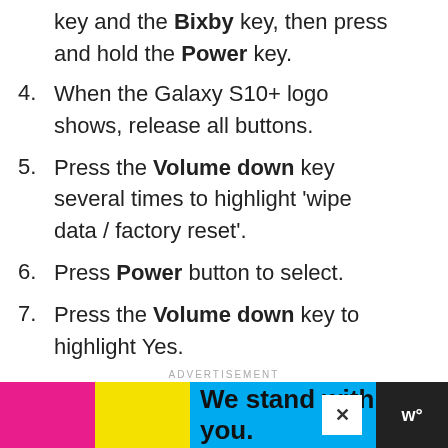key and the Bixby key, then press and hold the Power key.
4. When the Galaxy S10+ logo shows, release all buttons.
5. Press the Volume down key several times to highlight ‘wipe data / factory reset’.
6. Press Power button to select.
7. Press the Volume down key to highlight Yes.
ADVERTISEMENT